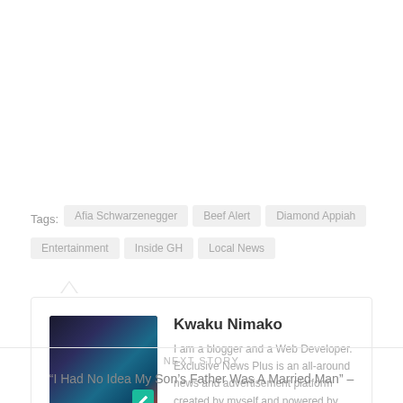Tags: Afia Schwarzenegger | Beef Alert | Diamond Appiah | Entertainment | Inside GH | Local News
Kwaku Nimako
I am a blogger and a Web Developer. Exclusive News Plus is an all-around news and advertisement platform created by myself and powered by Global Marketers. For any advertisement or promo, please call 0343022271. NB: We offer business listing for free.
NEXT STORY
“I Had No Idea My Son’s Father Was A Married Man” –